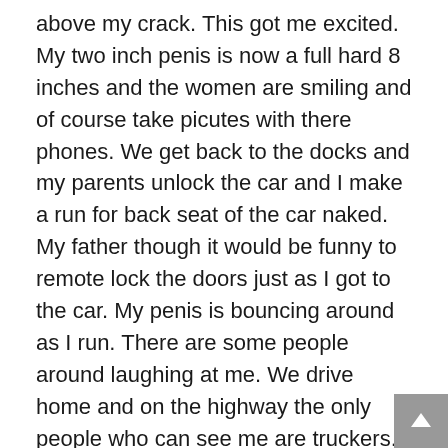above my crack. This got me excited. My two inch penis is now a full hard 8 inches and the women are smiling and of course take picutes with there phones. We get back to the docks and my parents unlock the car and I make a run for back seat of the car naked. My father though it would be funny to remote lock the doors just as I got to the car. My penis is bouncing around as I run. There are some people around laughing at me. We drive home and on the highway the only people who can see me are truckers. As we drive down our dead end street I see the neighbors are out on there front steps. My parents decided give them a show. As I got out of the car at the bottom of the driveway they call me to the trunk to help unload the car. The neighbors are laughing at me. My mother tells them what has happen while she slowly loads be up in front of the with stuff. As I walk up to the house with both hands full I get so excited about what has and is happening that I shoot cum all over the driveway as I walk. To